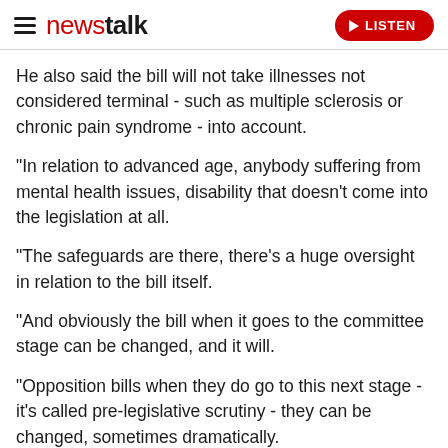newstalk | LISTEN
He also said the bill will not take illnesses not considered terminal - such as multiple sclerosis or chronic pain syndrome - into account.
"In relation to advanced age, anybody suffering from mental health issues, disability that doesn't come into the legislation at all.
"The safeguards are there, there's a huge oversight in relation to the bill itself.
"And obviously the bill when it goes to the committee stage can be changed, and it will.
"Opposition bills when they do go to this next stage - it's called pre-legislative scrutiny - they can be changed, sometimes dramatically.
"S...